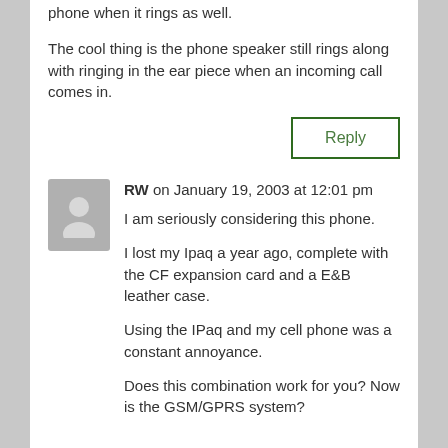phone when it rings as well.
The cool thing is the phone speaker still rings along with ringing in the ear piece when an incoming call comes in.
Reply
RW on January 19, 2003 at 12:01 pm
I am seriously considering this phone.
I lost my Ipaq a year ago, complete with the CF expansion card and a E&B leather case.
Using the IPaq and my cell phone was a constant annoyance.
Does this combination work for you? Now is the GSM/GPRS system?